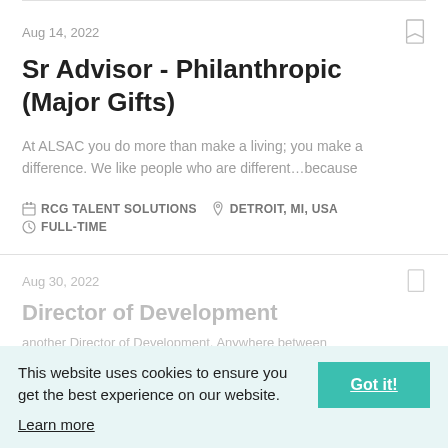Aug 14, 2022
Sr Advisor - Philanthropic (Major Gifts)
At ALSAC you do more than make a living; you make a difference. We like people who are different...because
RCG TALENT SOLUTIONS   DETROIT, MI, USA   FULL-TIME
Aug 30, 2022
Director of Development
another Director of Development. Anywhere between
This website uses cookies to ensure you get the best experience on our website. Learn more  Got it!